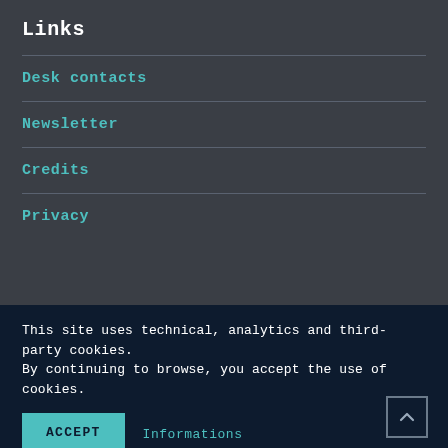Links
Desk contacts
Newsletter
Credits
Privacy
This site uses technical, analytics and third-party cookies. By continuing to browse, you accept the use of cookies.
ACCEPT
Informations